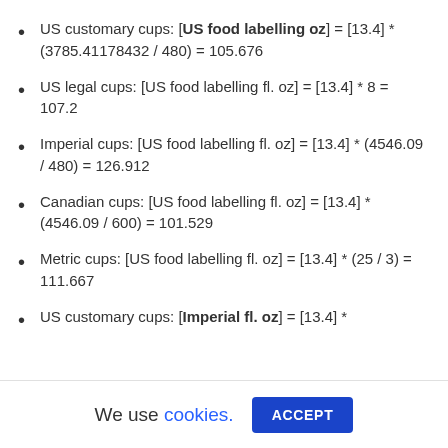US customary cups: [US food labelling oz] = [13.4] * (3785.41178432 / 480) = 105.676
US legal cups: [US food labelling fl. oz] = [13.4] * 8 = 107.2
Imperial cups: [US food labelling fl. oz] = [13.4] * (4546.09 / 480) = 126.912
Canadian cups: [US food labelling fl. oz] = [13.4] * (4546.09 / 600) = 101.529
Metric cups: [US food labelling fl. oz] = [13.4] * (25 / 3) = 111.667
US customary cups: [Imperial fl. oz] = [13.4] *
We use cookies.
ACCEPT